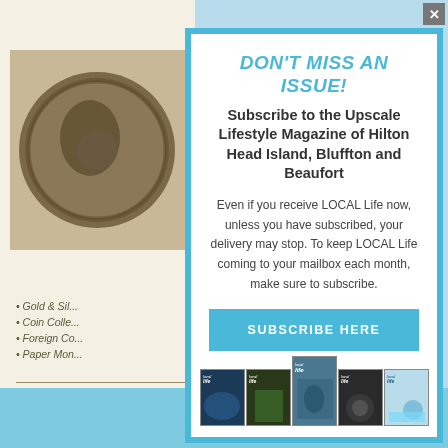DON'T MISS AN ISSUE!
Subscribe to the Upscale Lifestyle Magazine of Hilton Head Island, Bluffton and Beaufort
Even if you receive LOCAL Life now, unless you have subscribed, your delivery may stop. To keep LOCAL Life coming to your mailbox each month, make sure to subscribe.
SUBSCRIBE HERE
[Figure (photo): Stack of Local Life magazine covers showing various cover images]